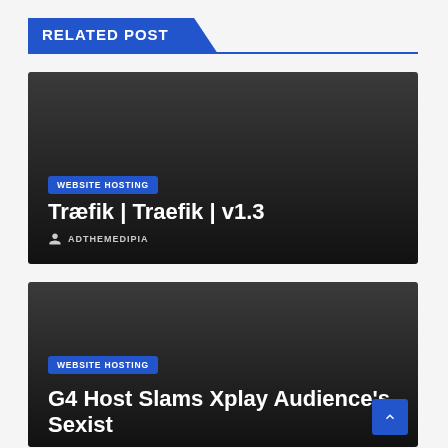RELATED POST
[Figure (screenshot): Dark card with category badge 'WEBSITE HOSTING' and title 'Træfik | Traefik | v1.3' with author ADTHEMEDIPIA]
[Figure (screenshot): Dark card with category badge 'WEBSITE HOSTING' and partial title 'G4 Host Slams Xplay Audience's Sexist']